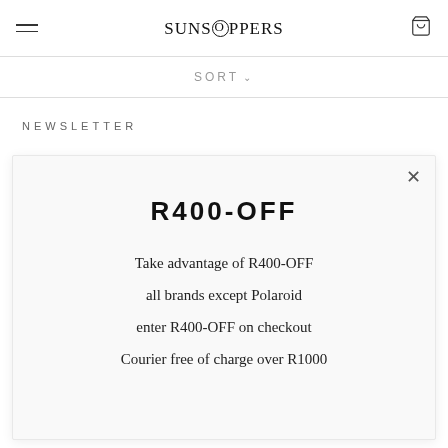SUNSTOPPERS
SORT
NEWSLETTER
R400-OFF
Take advantage of R400-OFF
all brands except Polaroid
enter R400-OFF on checkout
Courier free of charge over R1000